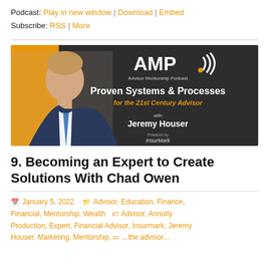Podcast: Play in new window | Download | Embed
Subscribe: RSS | More
[Figure (photo): AMP Advisor Mentorship Podcast banner image featuring a man in a suit with text: Proven Systems & Processes for the 21st Century Advisor, with Jeremy Houser, Powered by InsurMark]
9. Becoming an Expert to Create Solutions With Chad Owen
January 5, 2022  Advisor, Education, Finance, Financial, Mentorship, Wealth  Advisor, Annuity Production, Expert, Financial Advisor, Insurmark, Jeremy Houser, Marketing, Mentorship, ...